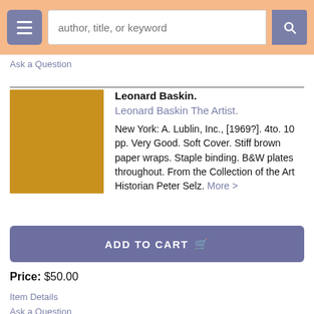author, title, or keyword
Ask a Question
Leonard Baskin. Leonard Baskin The Artist. New York: A. Lublin, Inc., [1969?]. 4to. 10 pp. Very Good. Soft Cover. Stiff brown paper wraps. Staple binding. B&W plates throughout. From the Collection of the Art Historian Peter Selz. More >
ADD TO CART
Price: $50.00
Item Details
Ask a Question